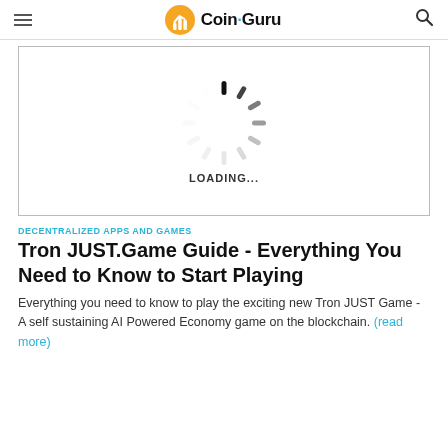Coin Guru
[Figure (illustration): Loading spinner graphic showing a circular array of gray bars/lines in various shades, with text LOADING... beneath it, displayed inside a bordered box]
DECENTRALIZED APPS AND GAMES
Tron JUST.Game Guide - Everything You Need to Know to Start Playing
Everything you need to know to play the exciting new Tron JUST Game - A self sustaining AI Powered Economy game on the blockchain. (read more)